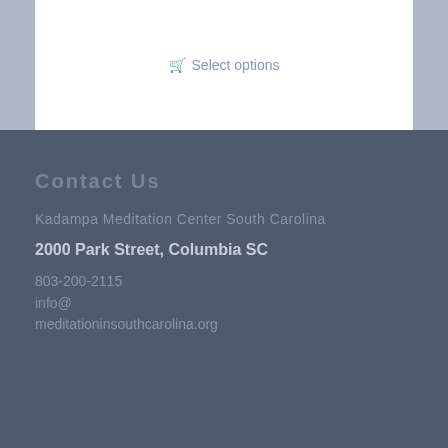Select options
Contact Us
Kadampa Meditation Center South Carolina
2000 Park Street, Columbia SC
803-200-2115
info@meditationinsouthcarolina.org